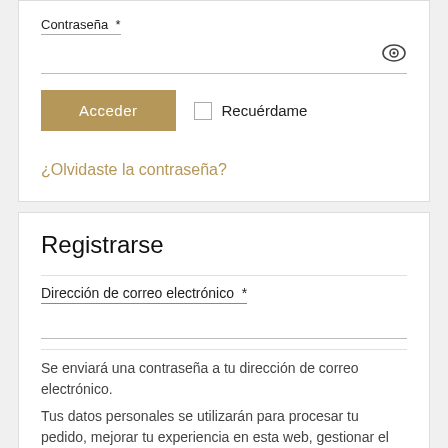Contraseña *
[Figure (illustration): Eye icon for show/hide password toggle]
[Figure (illustration): Acceder button (golden/tan color) and Recuérdame checkbox]
¿Olvidaste la contraseña?
Registrarse
Dirección de correo electrónico *
Se enviará una contraseña a tu dirección de correo electrónico.
Tus datos personales se utilizarán para procesar tu pedido, mejorar tu experiencia en esta web, gestionar el